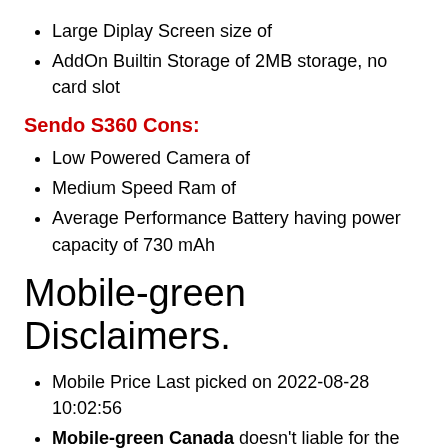Large Diplay Screen size of
AddOn Builtin Storage of 2MB storage, no card slot
Sendo S360 Cons:
Low Powered Camera of
Medium Speed Ram of
Average Performance Battery having power capacity of 730 mAh
Mobile-green Disclaimers.
Mobile Price Last picked on 2022-08-28 10:02:56
Mobile-green Canada doesn't liable for the availability of choosen Mobile Price.
Mobile Price across shops in Canada is in CAD